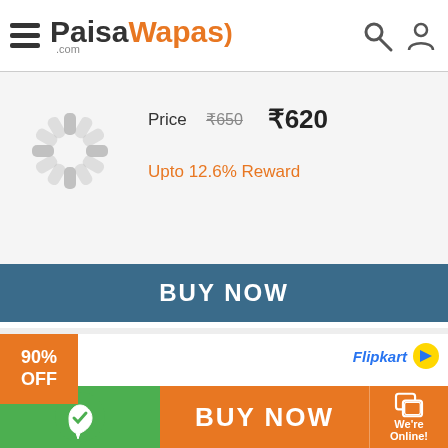[Figure (screenshot): PaisaWapas.com website header with logo, hamburger menu, search and user icons]
Price  ₹650  ₹620
Upto 12.6% Reward
BUY NOW
90% OFF
Flipkart
Taxton TT-C-LG Nexus 5 Screen Guard for LG Nexus 5
Price  ₹899  ₹89
Upto 12.6% Reward
BUY NOW
BUY NOW
We're Online!